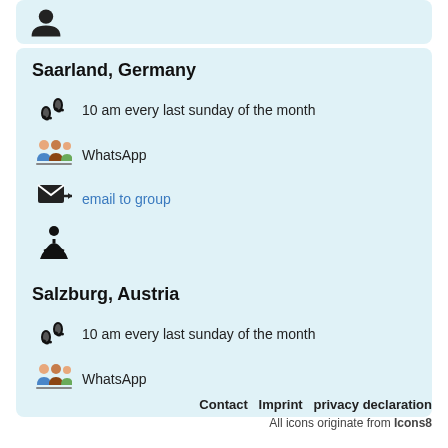[Figure (illustration): Top card with a silhouette/person icon]
Saarland, Germany
10 am every last sunday of the month
WhatsApp
email to group
(meditation/person icon)
Salzburg, Austria
10 am every last sunday of the month
WhatsApp
Contact   Imprint   privacy declaration
All icons originate from Icons8